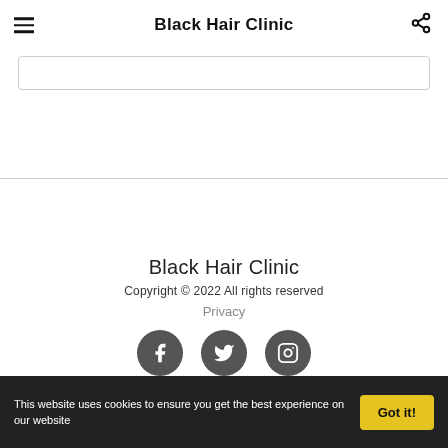Black Hair Clinic
[Figure (screenshot): Search input box with rounded border]
Black Hair Clinic
Copyright © 2022 All rights reserved
Privacy
[Figure (infographic): Three social media icons: Facebook, Twitter, Instagram — dark grey circles]
This website uses cookies to ensure you get the best experience on our website  Got it!